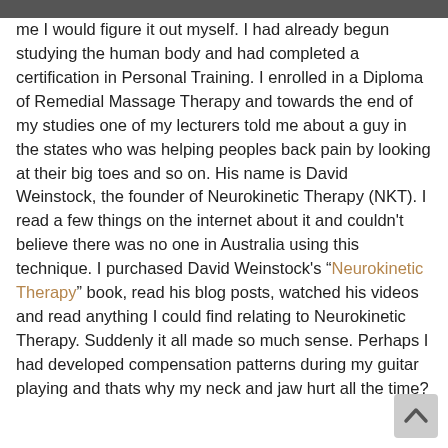me I would figure it out myself. I had already begun studying the human body and had completed a certification in Personal Training. I enrolled in a Diploma of Remedial Massage Therapy and towards the end of my studies one of my lecturers told me about a guy in the states who was helping peoples back pain by looking at their big toes and so on. His name is David Weinstock, the founder of Neurokinetic Therapy (NKT). I read a few things on the internet about it and couldn’t believe there was no one in Australia using this technique. I purchased David Weinstock’s “Neurokinetic Therapy” book, read his blog posts, watched his videos and read anything I could find relating to Neurokinetic Therapy. Suddenly it all made so much sense. Perhaps I had developed compensation patterns during my guitar playing and thats why my neck and jaw hurt all the time?